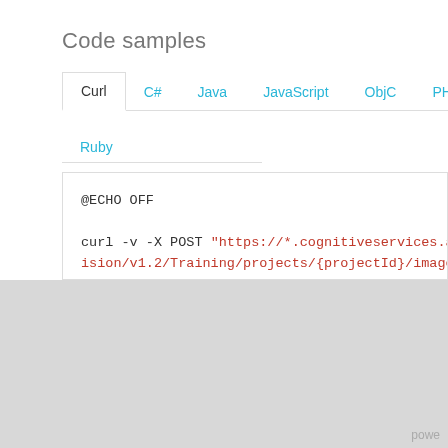Code samples
Curl | C# | Java | JavaScript | ObjC | PHP | Ruby
[Figure (screenshot): Code sample box showing Curl tab selected with code: @ECHO OFF

curl -v -X POST "https://*.cognitiveservices.azu...ision/v1.2/Training/projects/{projectId}/images/
-H "Content-Type: application/json"
-H "Training-key: {subscription key}"

--data-ascii "{body}"]
powe